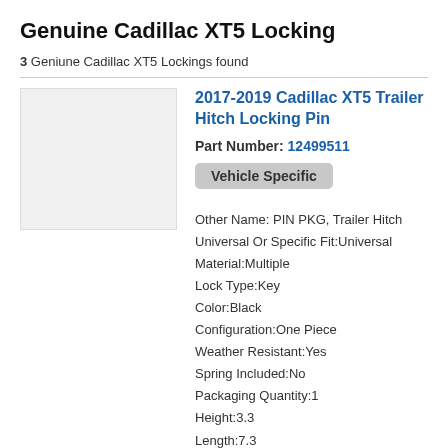Genuine Cadillac XT5 Locking
3 Geniune Cadillac XT5 Lockings found
[Figure (photo): Product image placeholder — light gray rectangle]
2017-2019 Cadillac XT5 Trailer Hitch Locking Pin
Part Number: 12499511
Vehicle Specific
Other Name: PIN PKG, Trailer Hitch
Universal Or Specific Fit:Universal
Material:Multiple
Lock Type:Key
Color:Black
Configuration:One Piece
Weather Resistant:Yes
Spring Included:No
Packaging Quantity:1
Height:3.3
Length:7.3
Your Price: $33.00
Retail Price: $40.00
You Save: $7.00